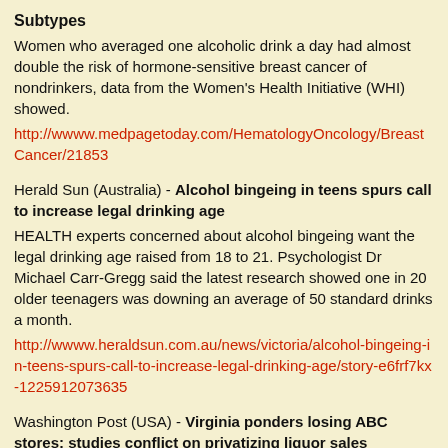Subtypes
Women who averaged one alcoholic drink a day had almost double the risk of hormone-sensitive breast cancer of nondrinkers, data from the Women's Health Initiative (WHI) showed.
http://wwww.medpagetoday.com/HematologyOncology/BreastCancer/21853
Herald Sun (Australia) - Alcohol bingeing in teens spurs call to increase legal drinking age
HEALTH experts concerned about alcohol bingeing want the legal drinking age raised from 18 to 21. Psychologist Dr Michael Carr-Gregg said the latest research showed one in 20 older teenagers was downing an average of 50 standard drinks a month.
http://wwww.heraldsun.com.au/news/victoria/alcohol-bingeing-in-teens-spurs-call-to-increase-legal-drinking-age/story-e6frf7kx-1225912073635
Washington Post (USA) - Virginia ponders losing ABC stores; studies conflict on privatizing liquor sales
As Gov. Robert F. McDonnell pushes a proposal to privatize